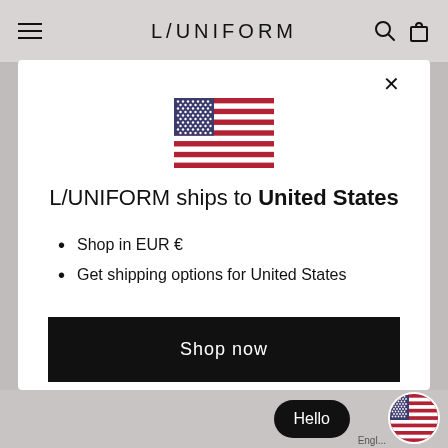L/UNIFORM
[Figure (illustration): US flag inside modal dialog]
L/UNIFORM ships to United States
Shop in EUR €
Get shipping options for United States
Shop now
Change shipping country